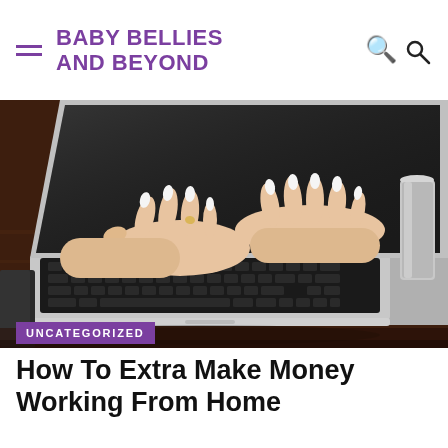BABY BELLIES AND BEYOND
[Figure (photo): Close-up photo of a woman's hands with long white nails typing on a MacBook laptop keyboard on a dark wooden desk, with a silver candle holder in the background.]
UNCATEGORIZED
How To Extra Make Money Working From Home